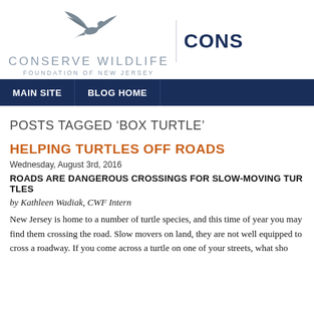[Figure (logo): Conserve Wildlife Foundation of New Jersey logo with bird silhouette and organization name, plus bold 'CONS' text to the right]
MAIN SITE | BLOG HOME
POSTS TAGGED ‘BOX TURTLE’
HELPING TURTLES OFF ROADS
Wednesday, August 3rd, 2016
ROADS ARE DANGEROUS CROSSINGS FOR SLOW-MOVING TURTLES
by Kathleen Wadiak, CWF Intern
New Jersey is home to a number of turtle species, and this time of year you may find them crossing the road. Slow movers on land, they are not well equipped to cross a busy roadway. If you come across a turtle on one of your streets, what sho